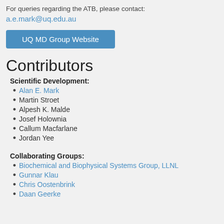For queries regarding the ATB, please contact:
a.e.mark@uq.edu.au
UQ MD Group Website
Contributors
Scientific Development:
Alan E. Mark
Martin Stroet
Alpesh K. Malde
Josef Holownia
Callum Macfarlane
Jordan Yee
Collaborating Groups:
Biochemical and Biophysical Systems Group, LLNL
Gunnar Klau
Chris Oostenbrink
Daan Geerke